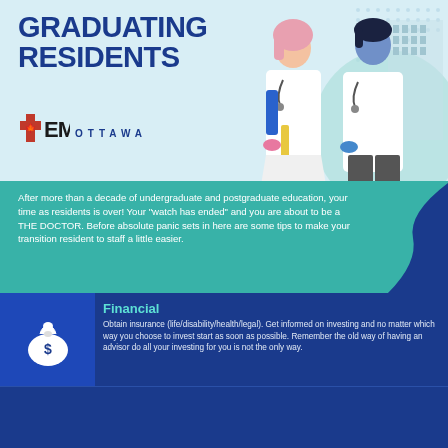GRADUATING RESIDENTS
[Figure (logo): EM Ottawa logo with red cross and maple leaf icon, text reading 'OTTAWA']
[Figure (illustration): Two illustrated medical doctors/residents in white coats with stethoscopes, one female with pink hair and one male, standing in front of building]
After more than a decade of undergraduate and postgraduate education, your time as residents is over! Your "watch has ended" and you are about to be a THE DOCTOR. Before absolute panic sets in here are some tips to make your transition resident to staff a little easier.
Financial
Obtain insurance (life/disability/health/legal). Get informed on investing and no matter which way you choose to invest start as soon as possible. Remember the old way of having an advisor do all your investing for you is not the only way.
[Figure (illustration): White money bag with dollar sign icon]
Get your Billing Number
Your billing agents and your consultants will require it. Until you have one you won't get paid.
[Figure (illustration): White document/invoice with pencil icon]
Buy yourself something nice
If it feels like you would have never bought it in residency and it seems like it costs way too much, that's about the right amount of money to spend*
[Figure (illustration): White sale tag/badge icon with 'SALE' text]